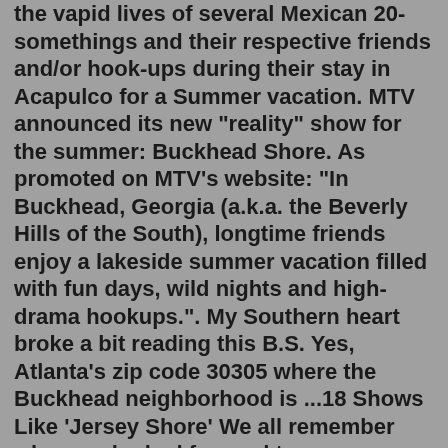the vapid lives of several Mexican 20-somethings and their respective friends and/or hook-ups during their stay in Acapulco for a Summer vacation. MTV announced its new "reality" show for the summer: Buckhead Shore. As promoted on MTV's website: "In Buckhead, Georgia (a.k.a. the Beverly Hills of the South), longtime friends enjoy a lakeside summer vacation filled with fun days, wild nights and high-drama hookups.". My Southern heart broke a bit reading this B.S. Yes, Atlanta's zip code 30305 where the Buckhead neighborhood is ...18 Shows Like 'Jersey Shore' We all remember when we looked forward to new episodes of MTV's Jersey Shore airing every week. There are tons of shows like Jersey Shore for you to watch and get your GTL on. Spinoff shows like 'Snooki & JWoww' and 'The Pauly D Project' follow some of the stars past their lives together on the shore.Jersey Shore is an American reality television series that ran on MTV from December 3, 2009, to December 20, 2012. The series